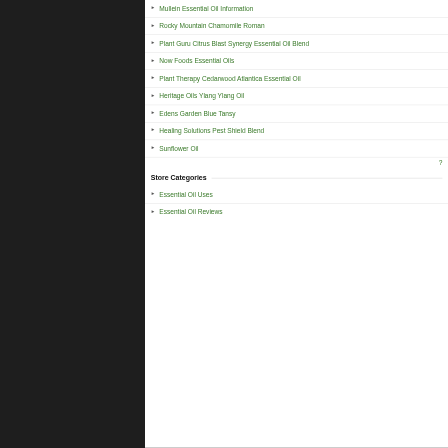Mullein Essential Oil Information
Rocky Mountain Chamomile Roman
Plant Guru Citrus Blast Synergy Essential Oil Blend
Now Foods Essential Oils
Plant Therapy Cedarwood Atlantica Essential Oil
Heritage Oils Ylang Ylang Oil
Edens Garden Blue Tansy
Healing Solutions Pest Shield Blend
Sunflower Oil
Store Categories
Essential Oil Uses
Essential Oil Reviews